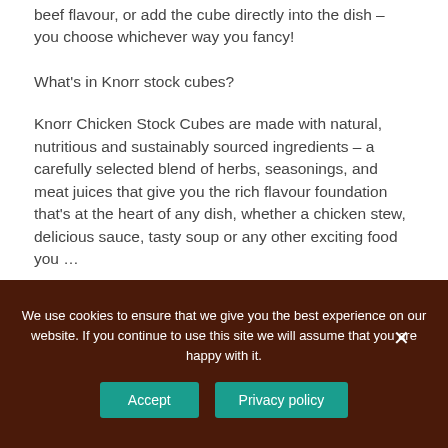beef flavour, or add the cube directly into the dish – you choose whichever way you fancy!
What's in Knorr stock cubes?
Knorr Chicken Stock Cubes are made with natural, nutritious and sustainably sourced ingredients – a carefully selected blend of herbs, seasonings, and meat juices that give you the rich flavour foundation that's at the heart of any dish, whether a chicken stew, delicious sauce, tasty soup or any other exciting food you …
We use cookies to ensure that we give you the best experience on our website. If you continue to use this site we will assume that you are happy with it.